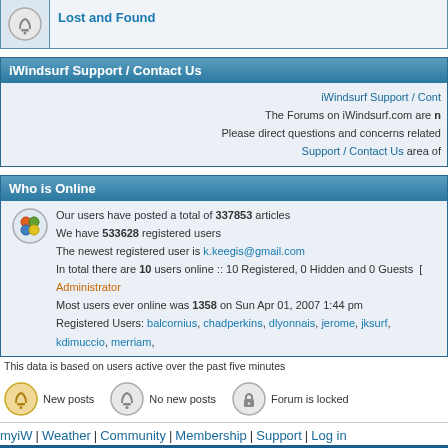Lost and Found
iWindsurf Support / Contact Us
iWindsurf Support / Cont... The Forums on iWindsurf.com are n... Please direct questions and concerns related... Support / Contact Us area of...
Who is Online
Our users have posted a total of 337853 articles
We have 533628 registered users
The newest registered user is k.keegis@gmail.com
In total there are 10 users online :: 10 Registered, 0 Hidden and 0 Guests [ Administrator...
Most users ever online was 1358 on Sun Apr 01, 2007 1:44 pm
Registered Users: balcornius, chadperkins, dlyonnais, jerome, jksurf, kdimuccio, merriam,...
This data is based on users active over the past five minutes
New posts
No new posts
Forum is locked
myiW | Weather | Community | Membership | Support | Log in
© Copyright 1999-2007 WeatherFlow, Inc Contact Us Privacy Policy Terms and Conditions Disc...
Powered by phpBB © 2001, 200...